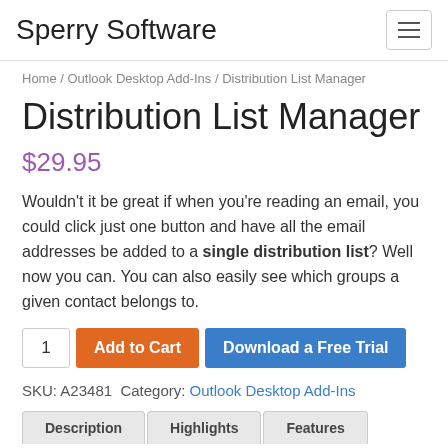Sperry Software
Home / Outlook Desktop Add-Ins / Distribution List Manager
Distribution List Manager
$29.95
Wouldn't it be great if when you're reading an email, you could click just one button and have all the email addresses be added to a single distribution list? Well now you can. You can also easily see which groups a given contact belongs to.
1  Add to Cart  Download a Free Trial
SKU: A23481  Category: Outlook Desktop Add-Ins
Description  Highlights  Features